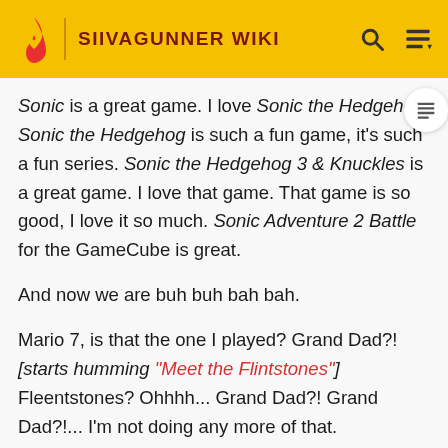SIIVAGUNNER WIKI
Sonic is a great game. I love Sonic the Hedgehog. Sonic the Hedgehog is such a fun game, it's such a fun series. Sonic the Hedgehog 3 & Knuckles is a great game. I love that game. That game is so good, I love it so much. Sonic Adventure 2 Battle for the GameCube is great.
And now we are buh buh bah bah.
Mario 7, is that the one I played? Grand Dad?! [starts humming "Meet the Flintstones"] Fleentstones? Ohhhh... Grand Dad?! Grand Dad?!... I'm not doing any more of that.
Bababa buh buh dadadadah bah bah salalalalala alalala salalala parararah sah duh lul lah lah, pah pah pha, duh